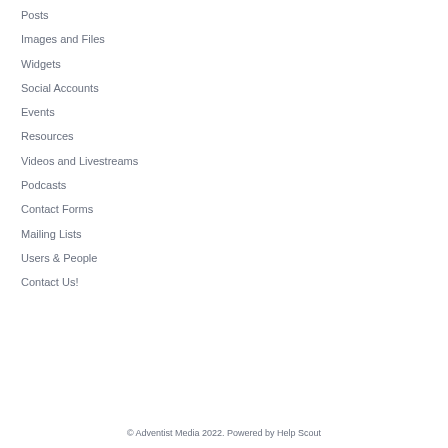Posts
Images and Files
Widgets
Social Accounts
Events
Resources
Videos and Livestreams
Podcasts
Contact Forms
Mailing Lists
Users & People
Contact Us!
© Adventist Media 2022. Powered by Help Scout